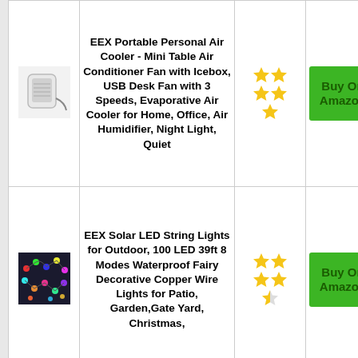| Image | Product | Rating | Action |
| --- | --- | --- | --- |
| [cooler image] | EEX Portable Personal Air Cooler - Mini Table Air Conditioner Fan with Icebox, USB Desk Fan with 3 Speeds, Evaporative Air Cooler for Home, Office, Air Humidifier, Night Light, Quiet | 2.5 stars | Buy On Amazon |
| [lights image] | EEX Solar LED String Lights for Outdoor, 100 LED 39ft 8 Modes Waterproof Fairy Decorative Copper Wire Lights for Patio, Garden,Gate Yard, Christmas, Wedding Party... | 2.5 stars | Buy On Amazon |